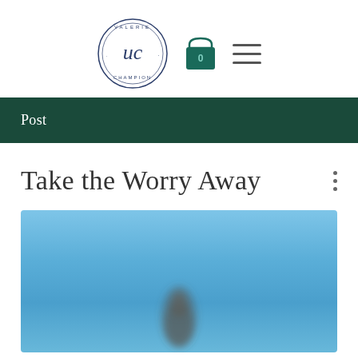Valerie Champion logo, cart icon with 0, hamburger menu
Post
Take the Worry Away
[Figure (photo): A bird (possibly a duck or seagull) against a bright blue sky background, blurred/soft focus image]